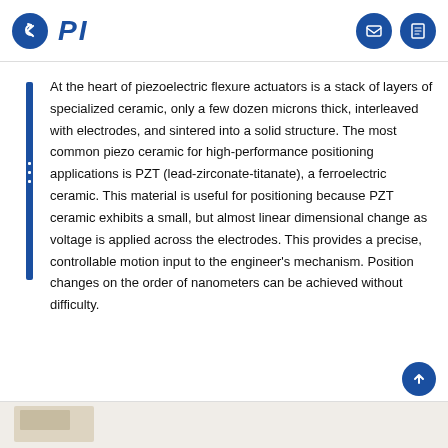PI
At the heart of piezoelectric flexure actuators is a stack of layers of specialized ceramic, only a few dozen microns thick, interleaved with electrodes, and sintered into a solid structure. The most common piezo ceramic for high-performance positioning applications is PZT (lead-zirconate-titanate), a ferroelectric ceramic. This material is useful for positioning because PZT ceramic exhibits a small, but almost linear dimensional change as voltage is applied across the electrodes. This provides a precise, controllable motion input to the engineer's mechanism. Position changes on the order of nanometers can be achieved without difficulty.
[Figure (photo): Partial image of piezoelectric component visible at bottom of page]